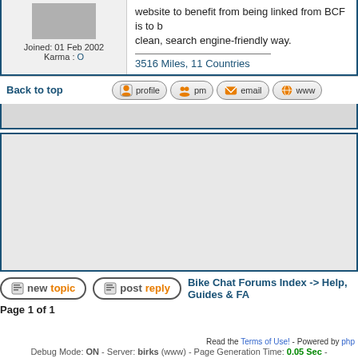[Figure (photo): User avatar image, gray/blurred photo]
Joined: 01 Feb 2002
Karma : O
website to benefit from being linked from BCF is to be clean, search engine-friendly way.
3516 Miles, 11 Countries
Back to top
[Figure (screenshot): Profile button icon]
[Figure (screenshot): PM button icon]
[Figure (screenshot): Email button icon]
[Figure (screenshot): WWW button icon]
[Figure (screenshot): New Topic button]
[Figure (screenshot): Post Reply button]
Bike Chat Forums Index -> Help, Guides & FA
Page 1 of 1
Read the Terms of Use! - Powered by php
Debug Mode: ON - Server: birks (www) - Page Generation Time: 0.05 Sec -